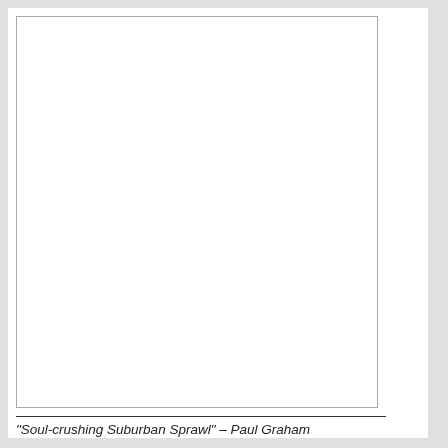[Figure (other): A large blank white rectangular area with a thin border, representing a blank page or placeholder image]
“Soul-crushing Suburban Sprawl” – Paul Graham